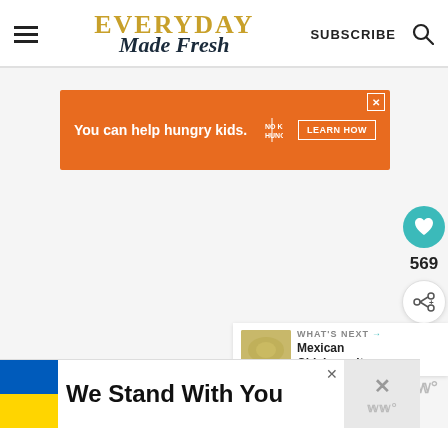Everyday Made Fresh — SUBSCRIBE
[Figure (screenshot): Orange advertisement banner: 'You can help hungry kids. NO KID HUNGRY LEARN HOW']
[Figure (infographic): Heart/save button (teal circle) with count 569, and share button below]
[Figure (screenshot): WHAT'S NEXT arrow panel with thumbnail: 'Mexican Chicken wit...']
[Figure (screenshot): Bottom advertisement banner: Ukrainian flag with text 'We Stand With You']